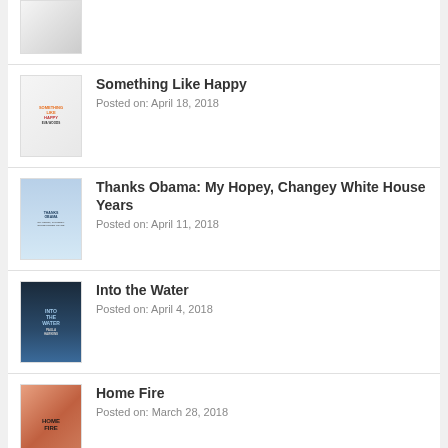[Figure (photo): Partial book cover visible at top of page]
Something Like Happy
Posted on: April 18, 2018
[Figure (photo): Book cover for Something Like Happy]
Thanks Obama: My Hopey, Changey White House Years
Posted on: April 11, 2018
[Figure (photo): Book cover for Thanks Obama]
Into the Water
Posted on: April 4, 2018
[Figure (photo): Book cover for Into the Water]
Home Fire
Posted on: March 28, 2018
[Figure (photo): Book cover for Home Fire]